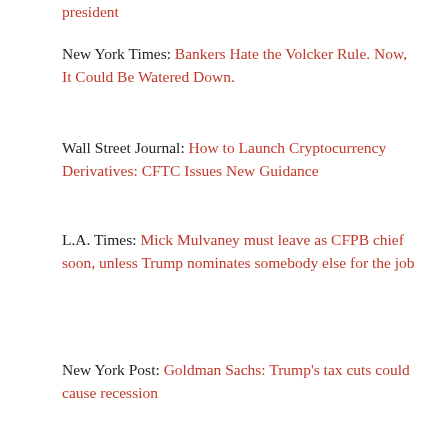president
New York Times: Bankers Hate the Volcker Rule. Now, It Could Be Watered Down.
Wall Street Journal: How to Launch Cryptocurrency Derivatives: CFTC Issues New Guidance
L.A. Times: Mick Mulvaney must leave as CFPB chief soon, unless Trump nominates somebody else for the job
New York Post: Goldman Sachs: Trump’s tax cuts could cause recession
Categories: Thoughts and Comments
Wednesday Headlines: House passes overhaul of bank rules →
← Monday Headlines: Fifth Third to buy MB Financial for $4.7 billion